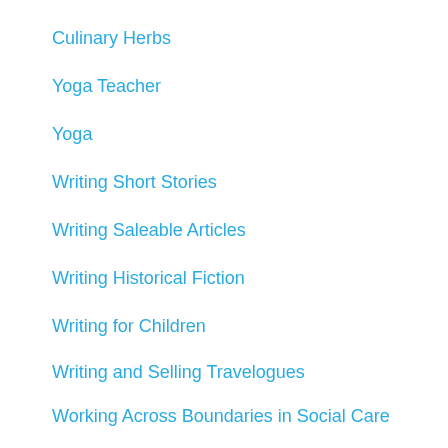Culinary Herbs
Yoga Teacher
Yoga
Writing Short Stories
Writing Saleable Articles
Writing Historical Fiction
Writing for Children
Writing and Selling Travelogues
Working Across Boundaries in Social Care
Women's Stress